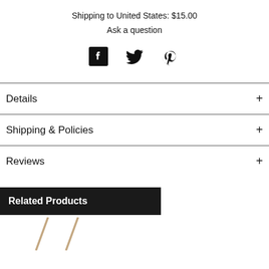Shipping to United States: $15.00
Ask a question
[Figure (other): Social media icons: Facebook, Twitter, Pinterest]
Details +
Shipping & Policies +
Reviews +
Related Products
[Figure (photo): Bottom partial product image showing sticks or similar items]